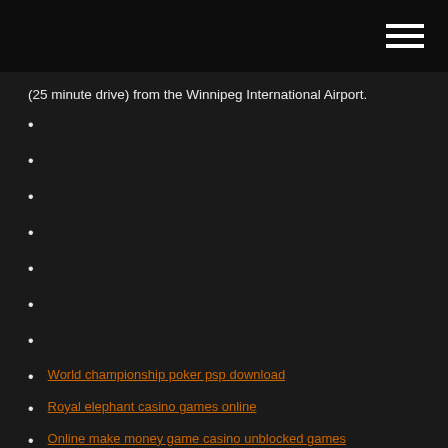(25 minute drive) from the Winnipeg International Airport.
World championship poker psp download
Royal elephant casino games online
Online make money game casino unblocked games
Slot machine condono 98 miliardi
Kevin costner casino south dakota